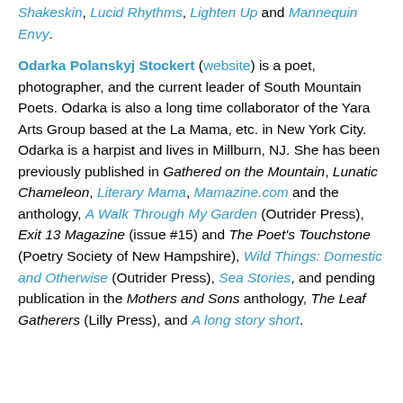Shakeskin, Lucid Rhythms, Lighten Up and Mannequin Envy.
Odarka Polanskyj Stockert (website) is a poet, photographer, and the current leader of South Mountain Poets. Odarka is also a long time collaborator of the Yara Arts Group based at the La Mama, etc. in New York City. Odarka is a harpist and lives in Millburn, NJ. She has been previously published in Gathered on the Mountain, Lunatic Chameleon, Literary Mama, Mamazine.com and the anthology, A Walk Through My Garden (Outrider Press), Exit 13 Magazine (issue #15) and The Poet's Touchstone (Poetry Society of New Hampshire), Wild Things: Domestic and Otherwise (Outrider Press), Sea Stories, and pending publication in the Mothers and Sons anthology, The Leaf Gatherers (Lilly Press), and A long story short.